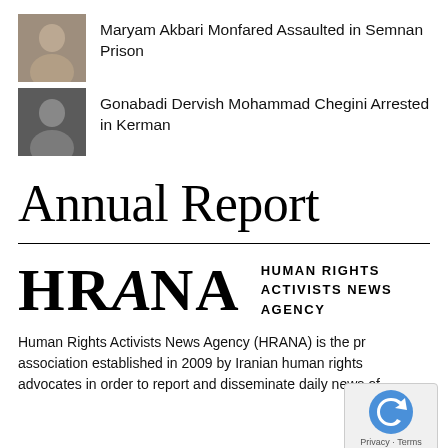[Figure (photo): Small thumbnail photo of Maryam Akbari Monfared, a woman with dark hair]
Maryam Akbari Monfared Assaulted in Semnan Prison
[Figure (photo): Small thumbnail black and white photo of Mohammad Chegini, a man]
Gonabadi Dervish Mohammad Chegini Arrested in Kerman
Annual Report
[Figure (logo): HRANA logo — large stylized text 'HRANA' with Human Rights Activists News Agency text beside it]
Human Rights Activists News Agency (HRANA) is the pr association established in 2009 by Iranian human rights advocates in order to report and disseminate daily news of